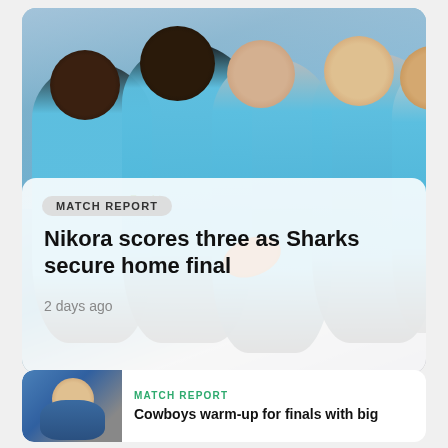[Figure (photo): Cronulla Sharks NRL rugby league players in light blue jerseys celebrating together on the field, embracing and cheering]
MATCH REPORT
Nikora scores three as Sharks secure home final
2 days ago
[Figure (photo): Small thumbnail photo of Cowboys players celebrating]
MATCH REPORT
Cowboys warm-up for finals with big